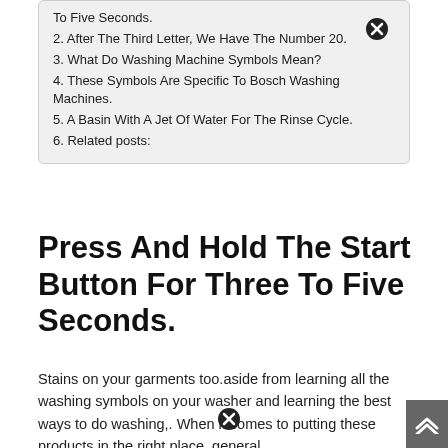To Five Seconds.
2. After The Third Letter, We Have The Number 20.
3. What Do Washing Machine Symbols Mean?
4. These Symbols Are Specific To Bosch Washing Machines.
5. A Basin With A Jet Of Water For The Rinse Cycle.
6. Related posts:
Press And Hold The Start Button For Three To Five Seconds.
Stains on your garments too.aside from learning all the washing symbols on your washer and learning the best ways to do washing,. When it comes to putting these products in the right place, general